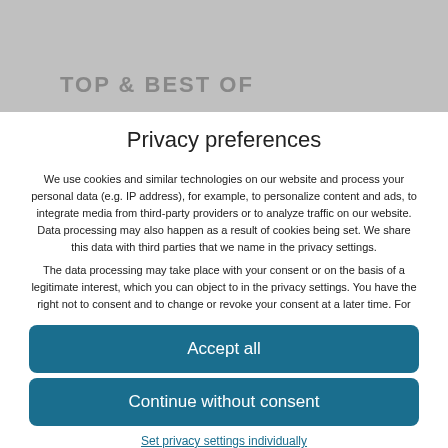TOP & BEST OF
Privacy preferences
We use cookies and similar technologies on our website and process your personal data (e.g. IP address), for example, to personalize content and ads, to integrate media from third-party providers or to analyze traffic on our website. Data processing may also happen as a result of cookies being set. We share this data with third parties that we name in the privacy settings.
The data processing may take place with your consent or on the basis of a legitimate interest, which you can object to in the privacy settings. You have the right not to consent and to change or revoke your consent at a later time. For
Accept all
Continue without consent
Set privacy settings individually
Privacy policy • Imprint
Cookie Consent with Real Cookie Banner